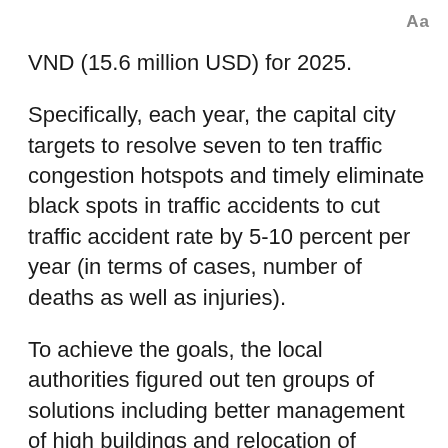Aa
VND (15.6 million USD) for 2025.
Specifically, each year, the capital city targets to resolve seven to ten traffic congestion hotspots and timely eliminate black spots in traffic accidents to cut traffic accident rate by 5-10 percent per year (in terms of cases, number of deaths as well as injuries).
To achieve the goals, the local authorities figured out ten groups of solutions including better management of high buildings and relocation of residents out of urban areas in order to reduce population density.
In addition, industrial production sites which cause